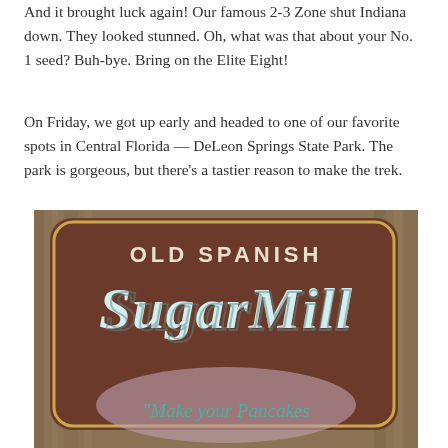And it brought luck again! Our famous 2-3 Zone shut Indiana down. They looked stunned. Oh, what was that about your No. 1 seed? Buh-bye. Bring on the Elite Eight!
On Friday, we got up early and headed to one of our favorite spots in Central Florida — DeLeon Springs State Park. The park is gorgeous, but there's a tastier reason to make the trek.
[Figure (photo): Close-up photo of a wooden sign reading 'OLD SPANISH SugarMill' with the tagline '"Make your Pancakes' visible at the bottom. The sign has a brown rounded rectangle shape with cream and teal lettering, mounted on weathered wood.]